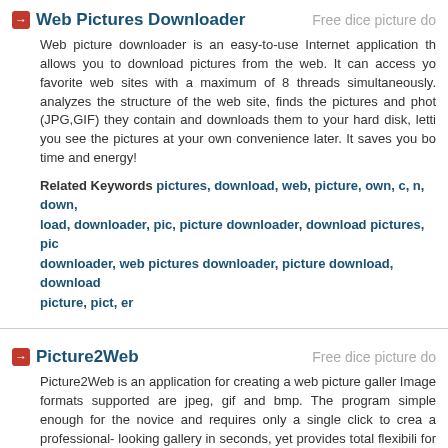Web Pictures Downloader
Web picture downloader is an easy-to-use Internet application that allows you to download pictures from the web. It can access your favorite web sites with a maximum of 8 threads simultaneously. It analyzes the structure of the web site, finds the pictures and photos (JPG,GIF) they contain and downloads them to your hard disk, letting you see the pictures at your own convenience later. It saves you both time and energy!
Related Keywords pictures, download, web, picture, own, c, n, down, load, downloader, pic, picture downloader, download pictures, pic downloader, web pictures downloader, picture download, download picture, pict, er
Picture2Web
Picture2Web is an application for creating a web picture gallery. Image formats supported are jpeg, gif and bmp. The program is simple enough for the novice and requires only a single click to create a professional- looking gallery in seconds, yet provides total flexibility for the more demanding webmaster. Choose from 12 different layouts or use your own custom layout. Also included is an integeraated banner rotation engine.
Related Keywords web, picture, c, pic, pict